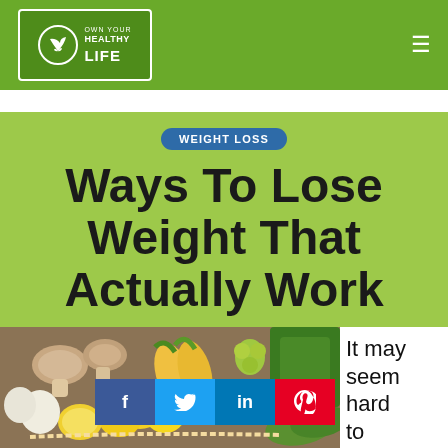OWN YOUR HEALTHY LIFE
WEIGHT LOSS
Ways To Lose Weight That Actually Work
[Figure (photo): Colorful assortment of fresh vegetables and fruits including mushrooms, corn, lemon, onion, garlic, zucchini and grapes with a measuring tape]
It may seem hard to